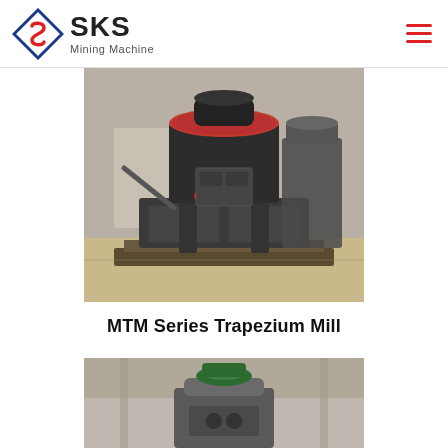SKS Mining Machine
[Figure (photo): MTM Series Trapezium Mill industrial grinding machine, dark grey metal body with red valve fittings, mounted on a pallet in a factory setting]
MTM Series Trapezium Mill
[Figure (photo): Partial view of another industrial grinding machine in a factory setting, showing the top portion with a green component visible]